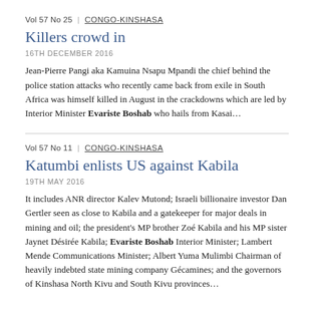Vol 57 No 25 | CONGO-KINSHASA
Killers crowd in
16TH DECEMBER 2016
Jean-Pierre Pangi aka Kamuina Nsapu Mpandi the chief behind the police station attacks who recently came back from exile in South Africa was himself killed in August in the crackdowns which are led by Interior Minister Evariste Boshab who hails from Kasai...
Vol 57 No 11 | CONGO-KINSHASA
Katumbi enlists US against Kabila
19TH MAY 2016
It includes ANR director Kalev Mutond; Israeli billionaire investor Dan Gertler seen as close to Kabila and a gatekeeper for major deals in mining and oil; the president's MP brother Zoé Kabila and his MP sister Jaynet Désirée Kabila; Evariste Boshab Interior Minister; Lambert Mende Communications Minister; Albert Yuma Mulimbi Chairman of heavily indebted state mining company Gécamines; and the governors of Kinshasa North Kivu and South Kivu provinces...